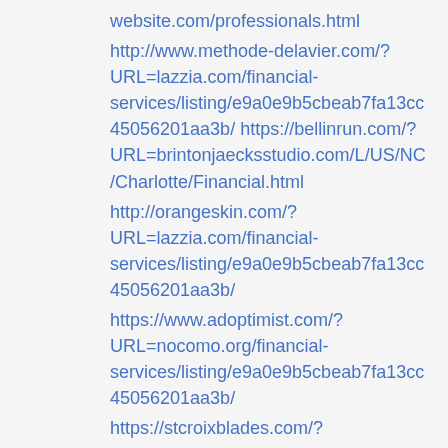website.com/professionals.html
http://www.methode-delavier.com/?URL=lazzia.com/financial-services/listing/e9a0e9b5cbeab7fa13cc45056201aa3b/ https://bellinrun.com/?URL=brintonjaecksstudio.com/L/US/NC/Charlotte/Financial.html
http://orangeskin.com/?URL=lazzia.com/financial-services/listing/e9a0e9b5cbeab7fa13cc45056201aa3b/
https://www.adoptimist.com/?URL=nocomo.org/financial-services/listing/e9a0e9b5cbeab7fa13cc45056201aa3b/
https://stcroixblades.com/?